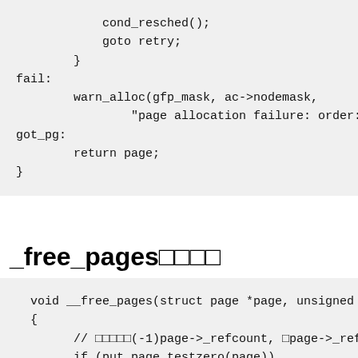cond_resched();
            goto retry;
        }
fail:
        warn_alloc(gfp_mask, ac->nodemask,
                "page allocation failure: order:%
got_pg:
        return page;
}
_free_pages□□□□
void __free_pages(struct page *page, unsigned
{
        // □□□□□(-1)page->_refcount, □page->_refc
        if (put_page_testzero(page))